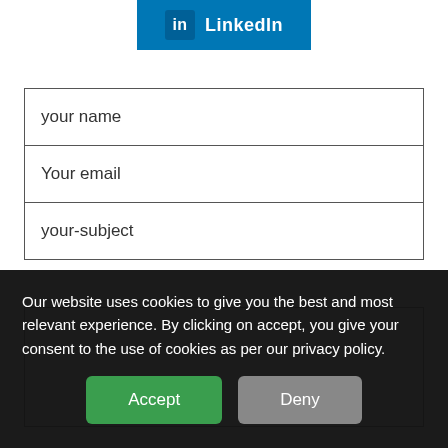[Figure (logo): LinkedIn button with 'in' icon and LinkedIn text on blue background]
your name
Your email
your-subject
[Figure (other): Empty textarea/message input box]
Our website uses cookies to give you the best and most relevant experience. By clicking on accept, you give your consent to the use of cookies as per our privacy policy.
Accept
Deny